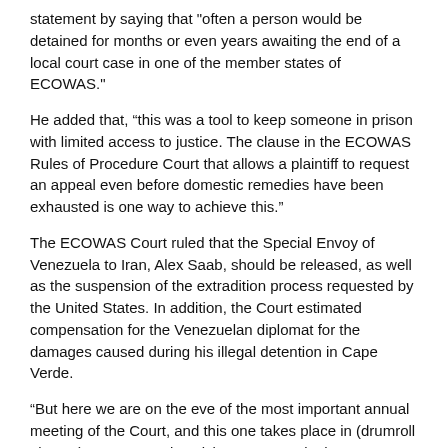statement by saying that "often a person would be detained for months or even years awaiting the end of a local court case in one of the member states of ECOWAS."
He added that, “this was a tool to keep someone in prison with limited access to justice. The clause in the ECOWAS Rules of Procedure Court that allows a plaintiff to request an appeal even before domestic remedies have been exhausted is one way to achieve this."
The ECOWAS Court ruled that the Special Envoy of Venezuela to Iran, Alex Saab, should be released, as well as the suspension of the extradition process requested by the United States. In addition, the Court estimated compensation for the Venezuelan diplomat for the damages caused during his illegal detention in Cape Verde.
“But here we are on the eve of the most important annual meeting of the Court, and this one takes place in (drumroll please!)… Cape Verde! Giving Cape Verde the opportunity to boast of its self-proclaimed position as ‘the model of African democracy’ which amounts to a self-flagellation of those who made the decision to hold the conference in Cape Verde,” said Dan Kovalik.